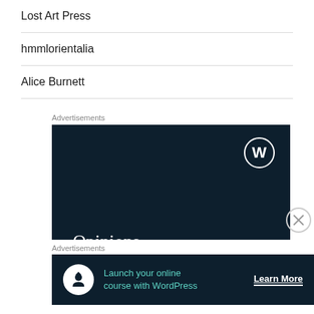Lost Art Press
hmmlorientalia
Alice Burnett
Advertisements
[Figure (other): WordPress advertisement banner with dark navy background. Shows WordPress logo (W in circle) top right. Text reads 'Opinions. We all have them!' in white serif font.]
Advertisements
[Figure (other): WordPress advertisement banner with dark navy background. Shows circular white icon with person/upload symbol, teal text 'Launch your online course with WordPress', and white 'Learn More' button with underline.]